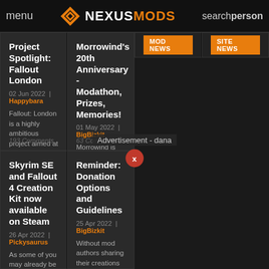menu | NEXUSMODS | search person
Project Spotlight: Fallout London
02 Jun 2022 | Happybara
Fallout: London is a highly ambitious project aimed at creating the city of London (post-apocalypse of course) in Fallout 4. They have been showcasing their development...
193 Comments
Morrowind's 20th Anniversary - Modathon, Prizes, Memories!
01 May 2022 | BigBizkit
Morrowind is turning 20 today! To celebrate this anniversary, our good friend darkelfguy is running a special edition of his yearly Morrowind May Modathon...late mods are...
63 Comments
Advertisement - dana
MOD NEWS
SITE NEWS
Skyrim SE and Fallout 4 Creation Kit now available on Steam
26 Apr 2022 | Pickysaurus
As some of you may already be aware, the Bethesda.net launcher...
Reminder: Donation Options and Guidelines
25 Apr 2022 | BigBizkit
Without mod authors sharing their creations our modding community wouldn't exist. As...